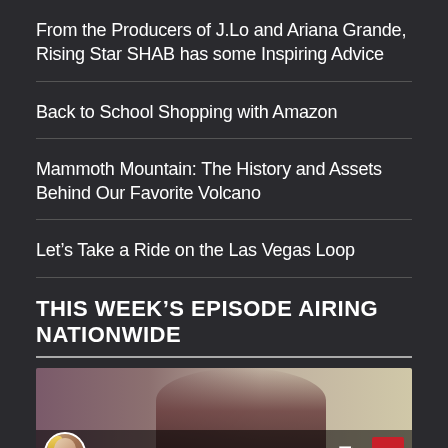From the Producers of J.Lo and Ariana Grande, Rising Star SHAB has some Inspiring Advice
Back to School Shopping with Amazon
Mammoth Mountain: The History and Assets Behind Our Favorite Volcano
Let’s Take a Ride on the Las Vegas Loop
THIS WEEK’S EPISODE AIRING NATIONWIDE
[Figure (screenshot): Video thumbnail showing California Life with Heather D... with avatar, playlist icon, and red play button overlay]